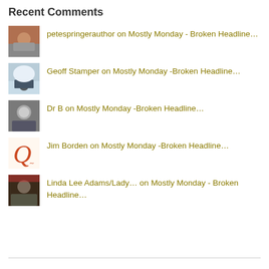Recent Comments
petespringerauthor on Mostly Monday - Broken Headline…
Geoff Stamper on Mostly Monday -Broken Headline…
Dr B on Mostly Monday -Broken Headline…
Jim Borden on Mostly Monday -Broken Headline…
Linda Lee Adams/Lady… on Mostly Monday - Broken Headline…